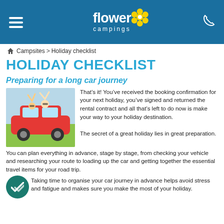flower campings [logo with hamburger menu and phone icon]
Campsites > Holiday checklist
HOLIDAY CHECKLIST
Preparing for a long car journey
[Figure (photo): Family with children waving from car window on a road trip]
That’s it! You’ve received the booking confirmation for your next holiday, you’ve signed and returned the rental contract and all that’s left to do now is make your way to your holiday destination.
The secret of a great holiday lies in great preparation. You can plan everything in advance, stage by stage, from checking your vehicle and researching your route to loading up the car and getting together the essential travel items for your road trip.
Taking time to organise your car journey in advance helps avoid stress and fatigue and makes sure you make the most of your holiday.